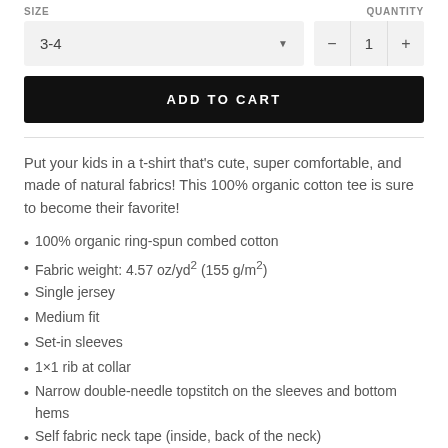SIZE   QUANTITY
3-4   1
ADD TO CART
Put your kids in a t-shirt that's cute, super comfortable, and made of natural fabrics! This 100% organic cotton tee is sure to become their favorite!
100% organic ring-spun combed cotton
Fabric weight: 4.57 oz/yd² (155 g/m²)
Single jersey
Medium fit
Set-in sleeves
1×1 rib at collar
Narrow double-needle topstitch on the sleeves and bottom hems
Self fabric neck tape (inside, back of the neck)